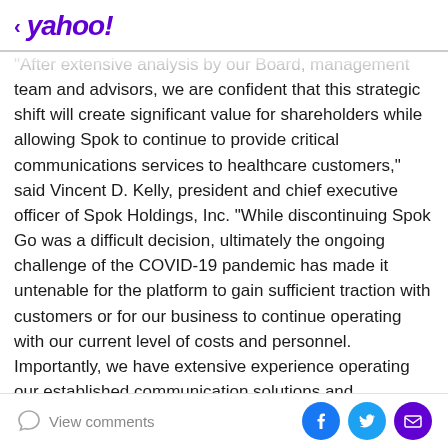< yahoo!
After extensive analysis by our Board, management team and advisors, we are confident that this strategic shift will create significant value for shareholders while allowing Spok to continue to provide critical communications services to healthcare customers," said Vincent D. Kelly, president and chief executive officer of Spok Holdings, Inc. "While discontinuing Spok Go was a difficult decision, ultimately the ongoing challenge of the COVID-19 pandemic has made it untenable for the platform to gain sufficient traction with customers or for our business to continue operating with our current level of costs and personnel. Importantly, we have extensive experience operating our established communication solutions and...
View comments